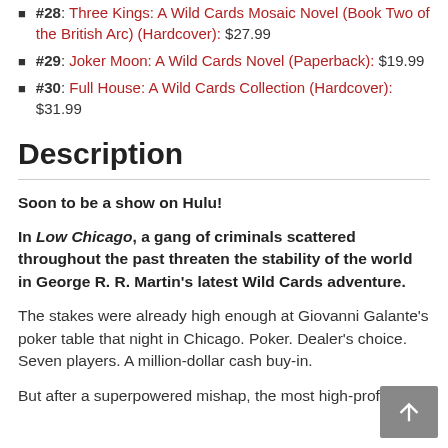#28: Three Kings: A Wild Cards Mosaic Novel (Book Two of the British Arc) (Hardcover): $27.99
#29: Joker Moon: A Wild Cards Novel (Paperback): $19.99
#30: Full House: A Wild Cards Collection (Hardcover): $31.99
Description
Soon to be a show on Hulu!
In Low Chicago, a gang of criminals scattered throughout the past threaten the stability of the world in George R. R. Martin's latest Wild Cards adventure.
The stakes were already high enough at Giovanni Galante's poker table that night in Chicago. Poker. Dealer's choice. Seven players. A million-dollar cash buy-in.
But after a superpowered mishap, the most high-profile